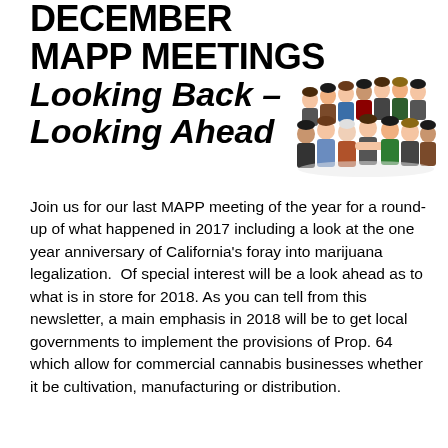DECEMBER MAPP MEETINGS Looking Back - Looking Ahead
[Figure (illustration): Cartoon illustration of a group of diverse people seated together, appearing to be at a meeting or gathering]
Join us for our last MAPP meeting of the year for a round-up of what happened in 2017 including a look at the one year anniversary of California's foray into marijuana legalization.  Of special interest will be a look ahead as to what is in store for 2018. As you can tell from this newsletter, a main emphasis in 2018 will be to get local governments to implement the provisions of Prop. 64 which allow for commercial cannabis businesses whether it be cultivation, manufacturing or distribution.